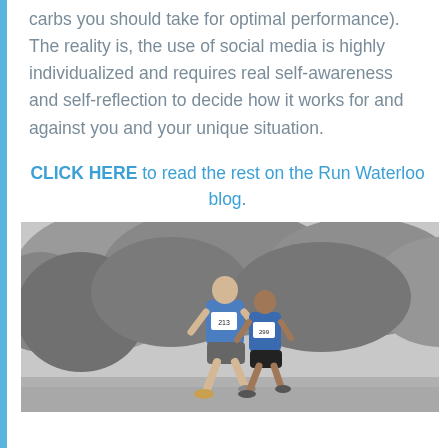carbs you should take for optimal performance). The reality is, the use of social media is highly individualized and requires real self-awareness and self-reflection to decide how it works for and against you and your unique situation.
CLICK HERE to read the rest on the Run Waterloo blog.
[Figure (photo): Black and white photo of two runners in a race, wearing numbered bibs (213 and another), running on a road with trees in the background. The front runner wears a blue vest.]